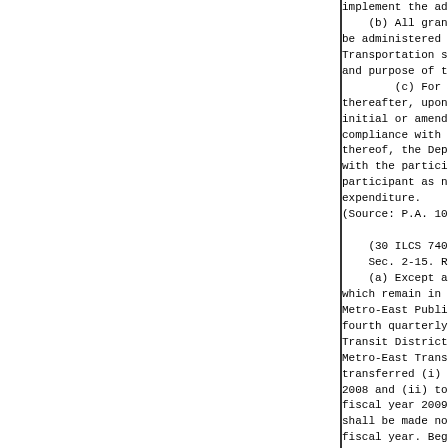implement the adopted program of
    (b) All grants by the Departm
be administered upon such con
Transportation shall determine,
and purpose of this Act.
        (c) For State fiscal y
thereafter, upon a determinatio
initial or amended program of
compliance with the provisions o
thereof, the Department shall ent
with the participant and shall
participant as necessary to imp
expenditures.
(Source: P.A. 102-626, eff. 8-27-

    (30 ILCS 740/2-15)(from Ch. 1
    Sec. 2-15. Residual fund bala
    (a) Except as otherwise prov
which remain in the Downstate Pub
Metro-East Public Transportation
fourth quarterly payment to part
Transit District participants an
Metro-East Transit participants
transferred (i) to the General Re
2008 and (ii) to the Downstate
fiscal year 2009 and each fisc
shall be made no later than 90
fiscal year. Beginning fiscal yea
the Downstate Transit Improveme
benefit of the participants